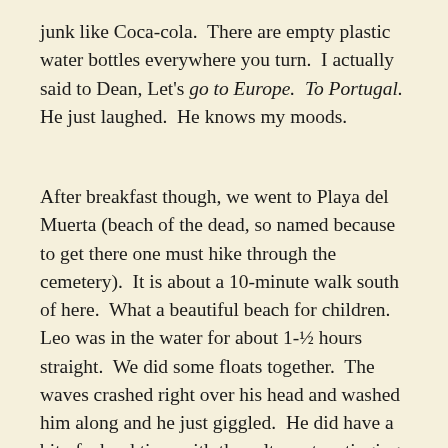junk like Coca-cola.  There are empty plastic water bottles everywhere you turn.  I actually said to Dean, Let's go to Europe.  To Portugal.  He just laughed.  He knows my moods.
After breakfast though, we went to Playa del Muerta (beach of the dead, so named because to get there one must hike through the cemetery).  It is about a 10-minute walk south of here.  What a beautiful beach for children.  Leo was in the water for about 1-½ hours straight.  We did some floats together.  The waves crashed right over his head and washed him along and he just giggled.  He did have a bit of a hard time with the salty water stinging his eyes but then he started to accept it.  There is another slight annoyance: jellyfish tentacles, which have broken